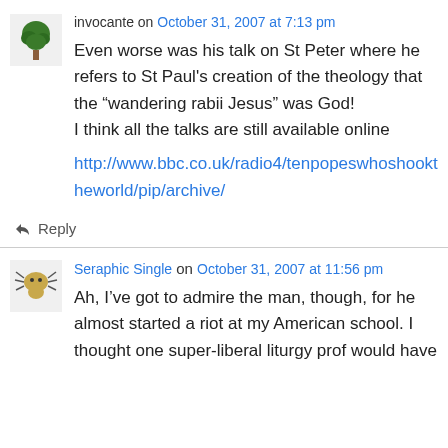invocante on October 31, 2007 at 7:13 pm
Even worse was his talk on St Peter where he refers to St Paul's creation of the theology that the “wandering rabii Jesus” was God!
I think all the talks are still available online
http://www.bbc.co.uk/radio4/tenpopeswhoshooktheworld/pip/archive/
↳ Reply
Seraphic Single on October 31, 2007 at 11:56 pm
Ah, I’ve got to admire the man, though, for he almost started a riot at my American school. I thought one super-liberal liturgy prof would have